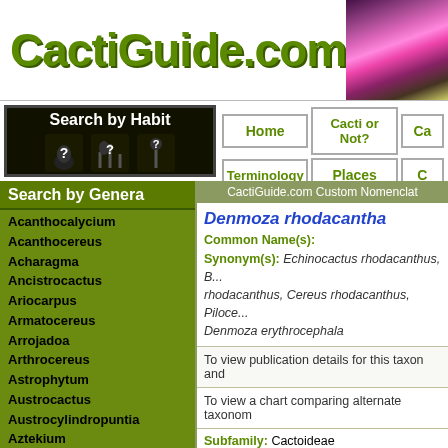CactiGuide.com
[Figure (photo): Pink cactus flower close-up photo in header]
[Figure (infographic): Search by Habit navigation with question mark icons and cactus silhouettes]
Home | Cacti or Not? | Ca... | Terminology | Places | C...
Search by Genera
Acanthocalycium
Acanthocereus
Acharagma
Ancistrocactus
Ariocarpus
Armatocereus
Arrojadoa
Arthrocereus
Astrophytum
Austrocactus
Austrocylindropuntia
Aztekium
Bergerocactus
Blossfeldia
Brachycereus
Brasilicereus
Brasiliopuntia
CactiGuide.com Custom Nomenclat...
Denmoza rhodacantha
Common Name(s):
Synonym(s): Echinocactus rhodacanthus, B... rhodacanthus, Cereus rhodacanthus, Piloce... Denmoza erythrocephala
To view publication details for this taxon and...
To view a chart comparing alternate taxonom...
Subfamily: Cactoideae
Tribe: Trichocereeae
Flower: Red
Verified! This icon appears next to images that...